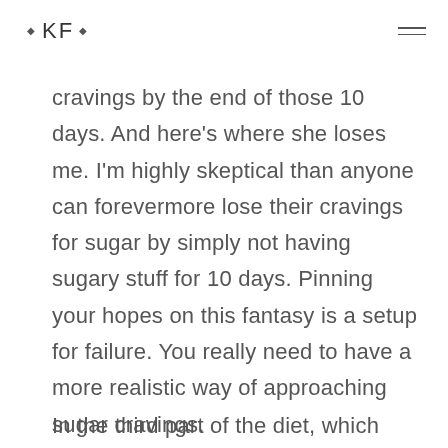• KF •
cravings by the end of those 10 days. And here's where she loses me. I'm highly skeptical than anyone can forevermore lose their cravings for sugar by simply not having sugary stuff for 10 days. Pinning your hopes on this fantasy is a setup for failure. You really need to have a more realistic way of approaching sugar cravings.
In the third part of the diet, which